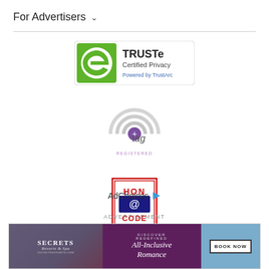For Advertisers ∨
[Figure (logo): TRUSTe Certified Privacy Powered by TrustArc badge — green and white rectangle with stylized e logo]
[Figure (logo): TAG Registered badge — circular concentric rings logo with 'tag' text and 'REGISTERED' beneath]
[Figure (logo): HON Code Certified 08/2020 badge — red bordered square with HON @code CERTIFIED 08/2020]
AdChoices ▷
ADVERTISEMENT
[Figure (photo): Advertisement banner for Secrets Resorts & Spa — left section shows beach scene with couple, middle section shows 'DISCOVER REDEFINED All-Inclusive Romance' on purple background, right section shows 'BOOK NOW' button on blue background]